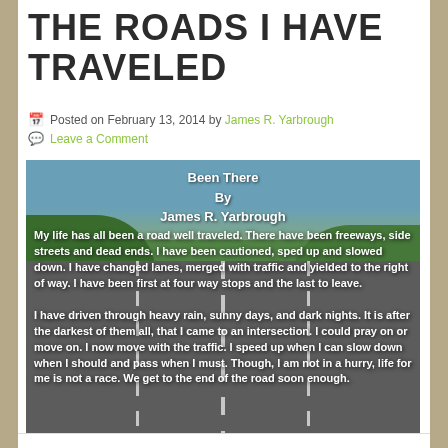THE ROADS I HAVE TRAVELED
Posted on February 13, 2014 by James R. Yarbrough
Leave a Comment
[Figure (photo): Highway road photo with white text overlay. Title: 'Been There By James R. Yarbrough'. Body text: 'My life has all been a road well traveled. There have been freeways, side streets and dead ends. I have been cautioned, sped up and slowed down. I have changed lanes, merged with traffic and yielded to the right of way. I have been first at four way stops and the last to leave. I have driven through heavy rain, sunny days, and dark nights. It is after the darkest of them all, that I came to an intersection. I could pray on or move on. I now move with the traffic. I speed up when I can slow down when I should and pass when I must. Though, I am not in a hurry, life for me is not a race. We get to the end of the road soon enough.']